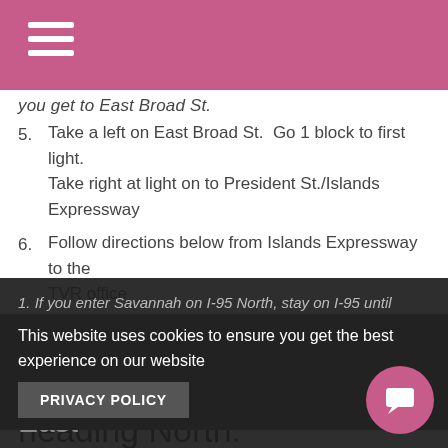you get to East Broad St.
5. Take a left on East Broad St.  Go 1 block to first light.  Take right at light on to President St./Islands Expressway
6. Follow directions below from Islands Expressway to the TVR office
To get to Tybee Island via I-95 heading North:
1. If you enter Savannah on I-95 North, stay on I-95 until you exit onto Hwy 204 East
To get to Tybee Island via I-16 East
This website uses cookies to ensure you get the best experience on our website  PRIVACY POLICY